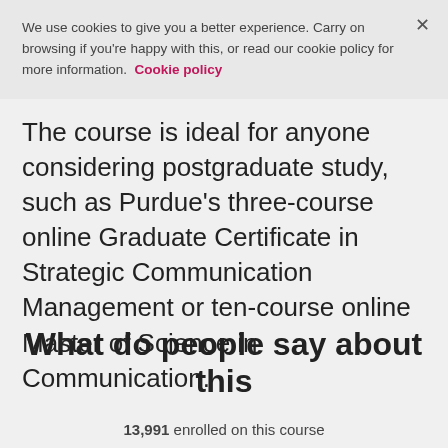We use cookies to give you a better experience. Carry on browsing if you're happy with this, or read our cookie policy for more information. Cookie policy
The course is ideal for anyone considering postgraduate study, such as Purdue's three-course online Graduate Certificate in Strategic Communication Management or ten-course online Master of Science in Communication.
What do people say about this
13,991 enrolled on this course